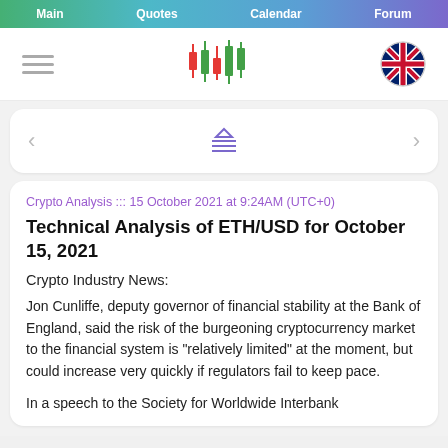Main   Quotes   Calendar   Forum
[Figure (logo): Candlestick chart logo icon with red and green candles]
[Figure (illustration): UK flag in circular badge]
< (left arrow) and > (right arrow) navigation with center chart icon
Crypto Analysis ::: 15 October 2021 at 9:24AM (UTC+0)
Technical Analysis of ETH/USD for October 15, 2021
Crypto Industry News:
Jon Cunliffe, deputy governor of financial stability at the Bank of England, said the risk of the burgeoning cryptocurrency market to the financial system is "relatively limited" at the moment, but could increase very quickly if regulators fail to keep pace.
In a speech to the Society for Worldwide Interbank